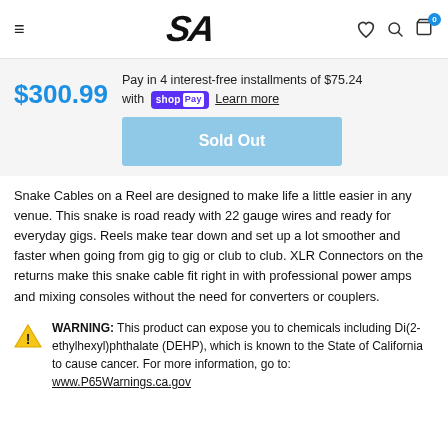SA
Pay in 4 interest-free installments of $75.24 with Shop Pay Learn more
$300.99
Sold Out
Snake Cables on a Reel are designed to make life a little easier in any venue. This snake is road ready with 22 gauge wires and ready for everyday gigs. Reels make tear down and set up a lot smoother and faster when going from gig to gig or club to club. XLR Connectors on the returns make this snake cable fit right in with professional power amps and mixing consoles without the need for converters or couplers.
WARNING: This product can expose you to chemicals including Di(2-ethylhexyl)phthalate (DEHP), which is known to the State of California to cause cancer. For more information, go to: www.P65Warnings.ca.gov